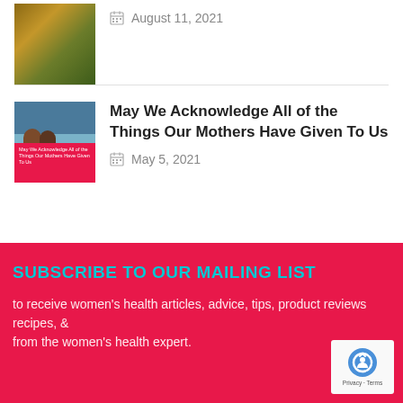August 11, 2021
[Figure (photo): Thumbnail image of food/cooking scene]
[Figure (photo): Thumbnail image of two women outdoors near a lake with mountains; overlay text: May We Acknowledge All of the Things Our Mothers Have Given To Us]
May We Acknowledge All of the Things Our Mothers Have Given To Us
May 5, 2021
SUBSCRIBE TO OUR MAILING LIST
to receive women's health articles, advice, tips, product reviews recipes, & from the women's health expert.